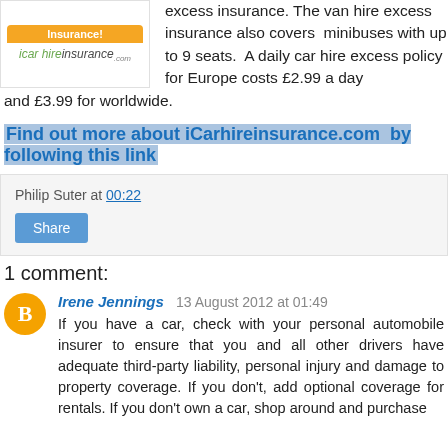[Figure (logo): iCarhireInsurance.com logo with orange top banner and green italic text]
excess insurance. The van hire excess insurance also covers  minibuses with up to 9 seats.  A daily car hire excess policy for Europe costs £2.99 a day and £3.99 for worldwide.
Find out more about iCarhireinsurance.com  by following this link
Philip Suter at 00:22
Share
1 comment:
Irene Jennings  13 August 2012 at 01:49
If you have a car, check with your personal automobile insurer to ensure that you and all other drivers have adequate third-party liability, personal injury and damage to property coverage. If you don't, add optional coverage for rentals. If you don't own a car, shop around and purchase